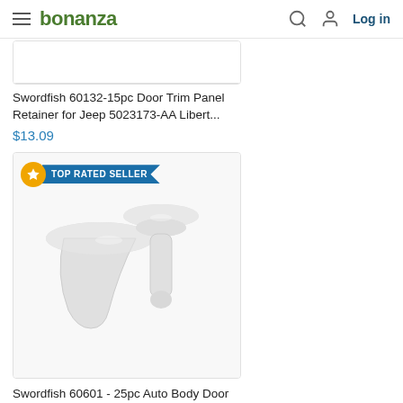bonanza — Log in
[Figure (photo): Partial product image visible at top of page (cropped)]
Swordfish 60132-15pc Door Trim Panel Retainer for Jeep 5023173-AA Libert...
$13.09
[Figure (photo): Two white plastic auto body door panel retainer clips on white background, with TOP RATED SELLER badge]
Swordfish 60601 - 25pc Auto Body Door Panel Retainer for Mazda 9927-40-825